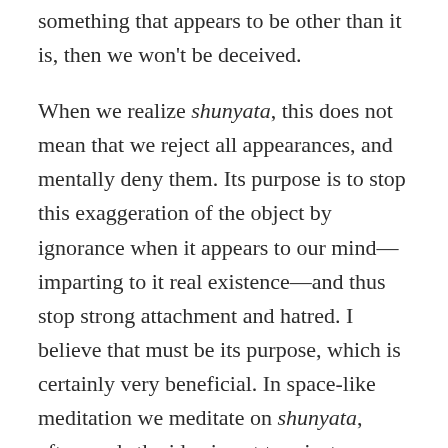something that appears to be other than it is, then we won't be deceived.
When we realize shunyata, this does not mean that we reject all appearances, and mentally deny them. Its purpose is to stop this exaggeration of the object by ignorance when it appears to our mind—imparting to it real existence—and thus stop strong attachment and hatred. I believe that must be its purpose, which is certainly very beneficial. In space-like meditation we meditate on shunyata, afterwards the idea is not to reject everything, but to see everything without exaggeration, to stop strong desire and attachment. When we see something attractive, but understand its true nature, this does not stop us seeing the attractiveness but stops too strong an attachment to